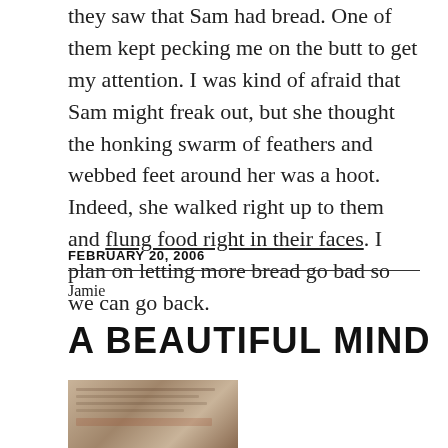they saw that Sam had bread. One of them kept pecking me on the butt to get my attention. I was kind of afraid that Sam might freak out, but she thought the honking swarm of feathers and webbed feet around her was a hoot. Indeed, she walked right up to them and flung food right in their faces. I plan on letting more bread go bad so we can go back.
FEBRUARY 20, 2006
Jamie
A BEAUTIFUL MIND
[Figure (photo): Book cover image for A Beautiful Mind]